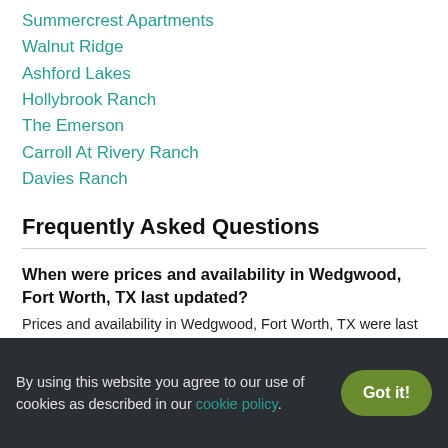Summercrest Apartments
Walnut Ridge
Ashford Lakes
Hollybrook Ranch
The Emerson
Carroll At Rivery Ranch
Davies Ranch
Frequently Asked Questions
When were prices and availability in Wedgwood, Fort Worth, TX last updated?
Prices and availability in Wedgwood, Fort Worth, TX were last updated on 28 Aug 2022.
What are the best apartments in Wedgwood, Fort Worth, TX?
By using this website you agree to our use of cookies as described in our cookie policy.